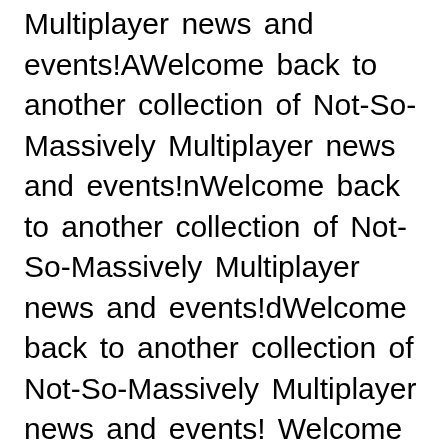Multiplayer news and events!AWelcome back to another collection of Not-So-Massively Multiplayer news and events!nWelcome back to another collection of Not-So-Massively Multiplayer news and events!dWelcome back to another collection of Not-So-Massively Multiplayer news and events! Welcome back to another collection of Not-So-Massively Multiplayer news and events!mWelcome back to another collection of Not-So-Massively Multiplayer news and events!oWelcome back to another collection of Not-So-Massively Multiplayer news and events!rWelcome back to another collection of Not-So-Massively Multiplayer news and events!eWelcome back to another collection of Not-So-Massively Multiplayer news and